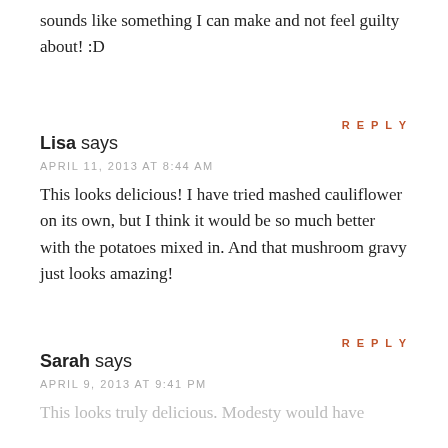sounds like something I can make and not feel guilty about! :D
REPLY
Lisa says
APRIL 11, 2013 AT 8:44 AM
This looks delicious! I have tried mashed cauliflower on its own, but I think it would be so much better with the potatoes mixed in. And that mushroom gravy just looks amazing!
REPLY
Sarah says
APRIL 9, 2013 AT 9:41 PM
This looks truly delicious. Modesty would have